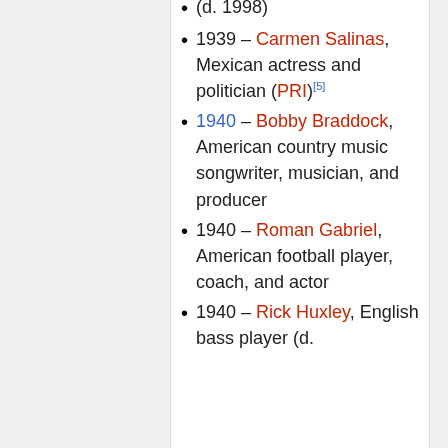(d. 1998)
1939 – Carmen Salinas, Mexican actress and politician (PRI)[5]
1940 – Bobby Braddock, American country music songwriter, musician, and producer
1940 – Roman Gabriel, American football player, coach, and actor
1940 – Rick Huxley, English bass player (d.